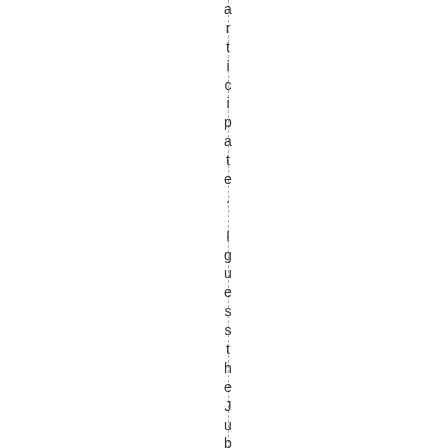articipate. Iguesthes the Jubilee Pa